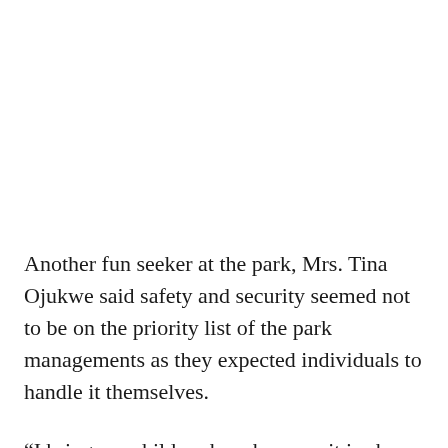Another fun seeker at the park, Mrs. Tina Ojukwe said safety and security seemed not to be on the priority list of the park managements as they expected individuals to handle it themselves.
“I bring my children here because it is cheap